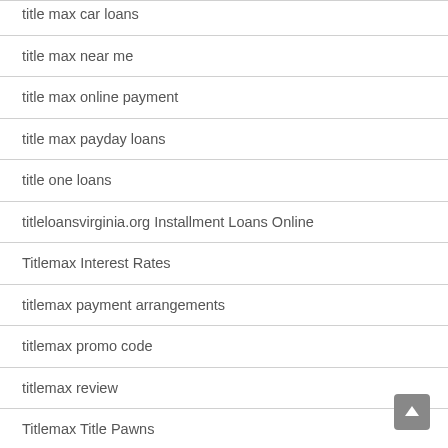title max car loans
title max near me
title max online payment
title max payday loans
title one loans
titleloansvirginia.org Installment Loans Online
Titlemax Interest Rates
titlemax payment arrangements
titlemax promo code
titlemax review
Titlemax Title Pawns
top installment loans
top pay day loan